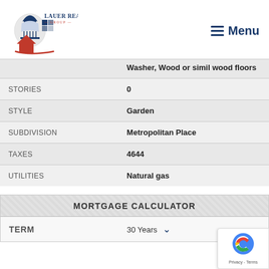[Figure (logo): Lauer Realty Group logo with capitol dome and house icon, blue and red color scheme]
≡ Menu
| (partial row visible) Washer, Wood or simil wood floors |  |
| STORIES | 0 |
| STYLE | Garden |
| SUBDIVISION | Metropolitan Place |
| TAXES | 4644 |
| UTILITIES | Natural gas |
MORTGAGE CALCULATOR
| TERM | 30 Years |